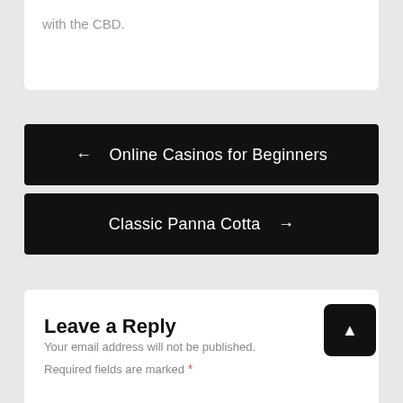with the CBD.
← Online Casinos for Beginners
Classic Panna Cotta →
Leave a Reply
Your email address will not be published.
Required fields are marked *